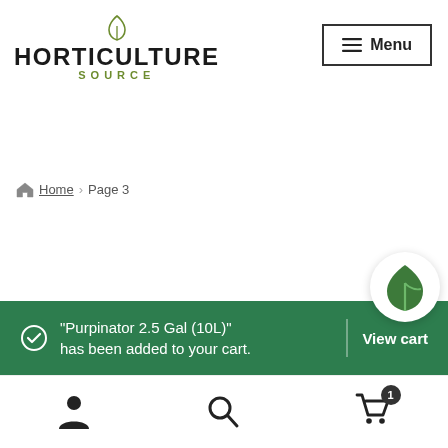[Figure (logo): Horticulture Source logo with leaf icon above the text, HORTICULTURE in bold black uppercase and SOURCE in olive green uppercase below]
[Figure (other): Menu button with hamburger icon and text Menu, bordered rectangle]
Home > Page 3
"Purpinator 2.5 Gal (10L)" has been added to your cart.
View cart
[Figure (logo): Circular white badge with green leaf/droplet icon, floating above the cart notification]
[Figure (other): Bottom toolbar with person icon, search icon, and shopping cart icon with badge showing count 1]